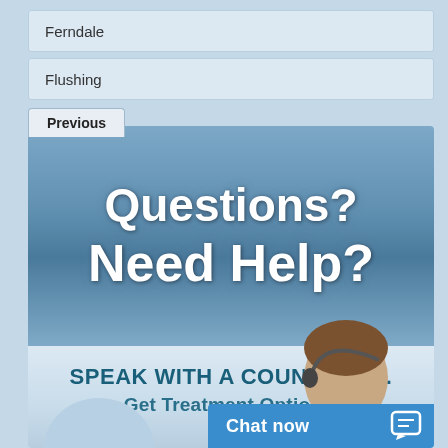Ferndale
Flushing
Previous
[Figure (infographic): Blue gradient banner with large white text 'Questions? Need Help?' above, and below a lighter section reading 'SPEAK WITH A COUNSELOR. Get Treatment Options.' with a person wearing a headset and a circular avatar icon. At the bottom right is a blue 'Chat now' bar with a chat bubble icon.]